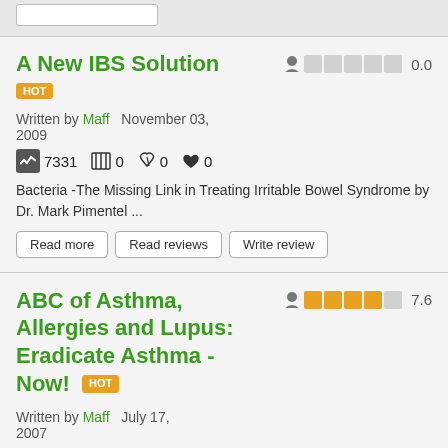A New IBS Solution
HOT
Written by Maff   November 03, 2009
7331  0  0  0  0
Bacteria -The Missing Link in Treating Irritable Bowel Syndrome by Dr. Mark Pimentel ...
Read more
Read reviews
Write review
ABC of Asthma, Allergies and Lupus: Eradicate Asthma - Now!
HOT
Written by Maff   July 17, 2007